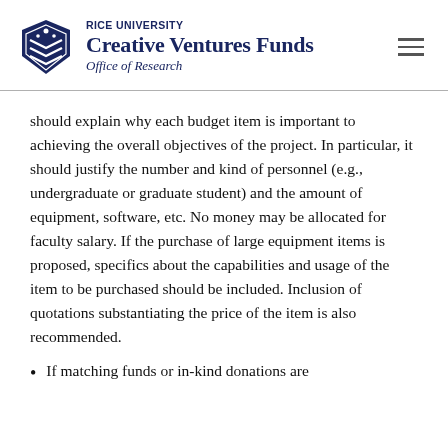RICE UNIVERSITY Creative Ventures Funds Office of Research
should explain why each budget item is important to achieving the overall objectives of the project. In particular, it should justify the number and kind of personnel (e.g., undergraduate or graduate student) and the amount of equipment, software, etc. No money may be allocated for faculty salary. If the purchase of large equipment items is proposed, specifics about the capabilities and usage of the item to be purchased should be included. Inclusion of quotations substantiating the price of the item is also recommended.
If matching funds or in-kind donations are